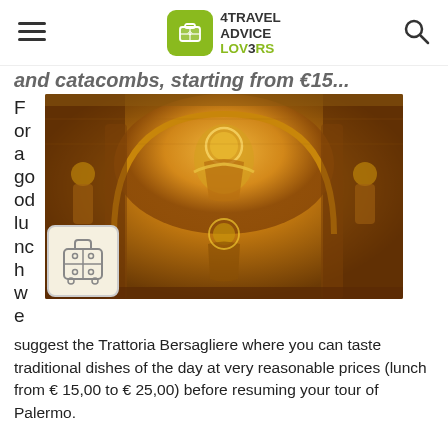4TRAVEL ADVICE LOVERS
and catacombs, starting from €15...
[Figure (photo): Interior of a Byzantine-style church with golden mosaic of Christ Pantocrator and Virgin Mary, ornate arches with golden mosaics, likely Palermo Cathedral or Monreale]
For a good lunch we suggest the Trattoria Bersagliere where you can taste traditional dishes of the day at very reasonable prices (lunch from € 15,00 to € 25,00) before resuming your tour of Palermo.